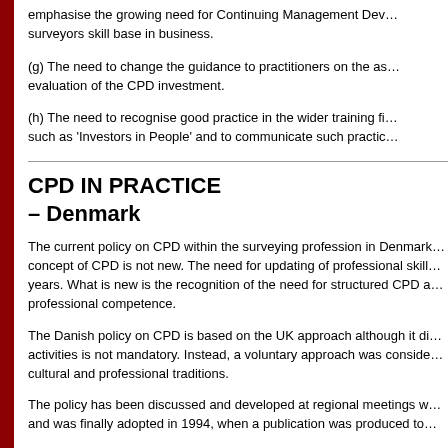emphasise the growing need for Continuing Management Dev… surveyors skill base in business.
(g) The need to change the guidance to practitioners on the as… evaluation of the CPD investment.
(h) The need to recognise good practice in the wider training fi… such as 'Investors in People' and to communicate such practic…
CPD IN PRACTICE – Denmark
The current policy on CPD within the surveying profession in Denmark… concept of CPD is not new. The need for updating of professional skill… years. What is new is the recognition of the need for structured CPD a… professional competence.
The Danish policy on CPD is based on the UK approach although it di… activities is not mandatory. Instead, a voluntary approach was conside… cultural and professional traditions.
The policy has been discussed and developed at regional meetings w… and was finally adopted in 1994, when a publication was produced to…